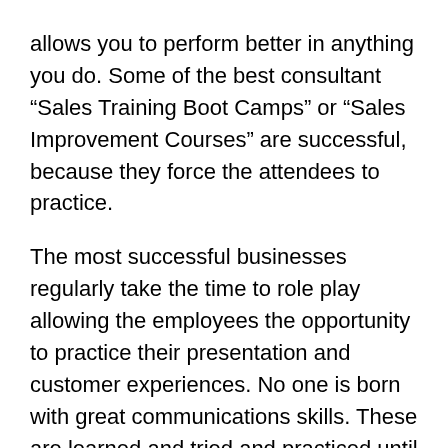allows you to perform better in anything you do. Some of the best consultant “Sales Training Boot Camps” or “Sales Improvement Courses” are successful, because they force the attendees to practice.
The most successful businesses regularly take the time to role play allowing the employees the opportunity to practice their presentation and customer experiences. No one is born with great communications skills. These are learned and tried and practiced until the person feels comfortable, sounds and looks confident and believes in the product and service themselves.
Take the time to practice various scenarios and force your team to answer objections and complaints. It’s much better to have them do it wrong in front of you, rather than the customer.